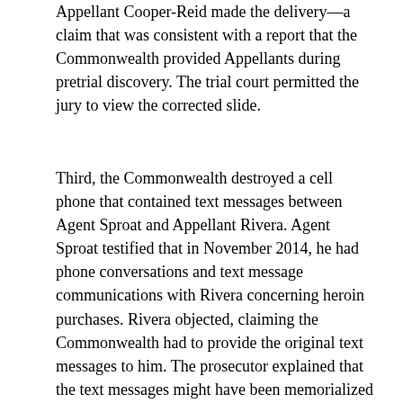Appellant Cooper-Reid made the delivery—a claim that was consistent with a report that the Commonwealth provided Appellants during pretrial discovery. The trial court permitted the jury to view the corrected slide.
Third, the Commonwealth destroyed a cell phone that contained text messages between Agent Sproat and Appellant Rivera. Agent Sproat testified that in November 2014, he had phone conversations and text message communications with Rivera concerning heroin purchases. Rivera objected, claiming the Commonwealth had to provide the original text messages to him. The prosecutor explained that the text messages might have been memorialized in investigative reports but that the